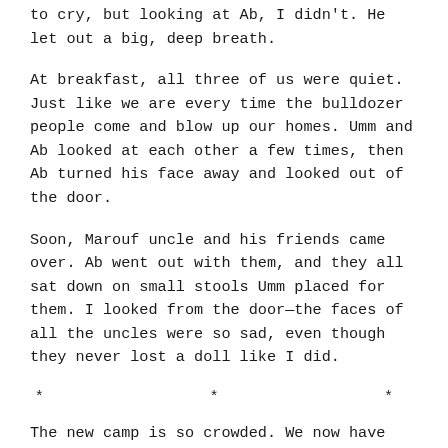to cry, but looking at Ab, I didn't. He let out a big, deep breath.
At breakfast, all three of us were quiet. Just like we are every time the bulldozer people come and blow up our homes. Umm and Ab looked at each other a few times, then Ab turned his face away and looked out of the door.
Soon, Marouf uncle and his friends came over. Ab went out with them, and they all sat down on small stools Umm placed for them. I looked from the door—the faces of all the uncles were so sad, even though they never lost a doll like I did.
* * *
The new camp is so crowded. We now have just one small room in which we eat, sleep, do school work, and it's the same room in which Umm has to cook too. And the stink from the open drains makes me feel sick in the stomach. There are no olive trees around either,